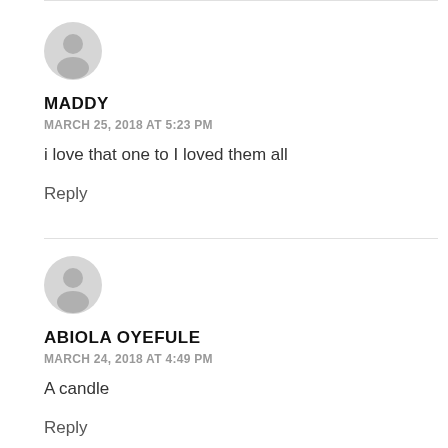[Figure (illustration): Generic grey user avatar icon for commenter Maddy]
MADDY
MARCH 25, 2018 AT 5:23 PM
i love that one to I loved them all
Reply
[Figure (illustration): Generic grey user avatar icon for commenter Abiola Oyefule]
ABIOLA OYEFULE
MARCH 24, 2018 AT 4:49 PM
A candle
Reply